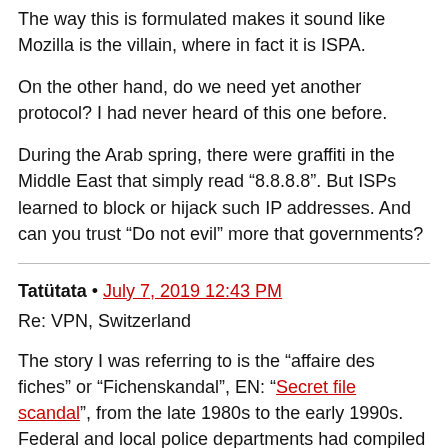The way this is formulated makes it sound like Mozilla is the villain, where in fact it is ISPA.
On the other hand, do we need yet another protocol? I had never heard of this one before.
During the Arab spring, there were graffiti in the Middle East that simply read “8.8.8.8”. But ISPs learned to block or hijack such IP addresses. And can you trust “Do not evil” more that governments?
Tatütata • July 7, 2019 12:43 PM
Re: VPN, Switzerland
The story I was referring to is the “affaire des fiches” or “Fichenskandal”, EN: “Secret file scandal”, from the late 1980s to the early 1990s. Federal and local police departments had compiled about 900.000 detailed profiles of generally innocent people, based on a network of informants (e.g.: bosses), out of a population of about 6 million people at the time.
A 24 minute long documentary in French from 1990